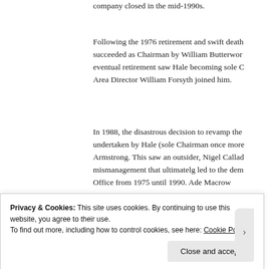company closed in the mid-1990s.
Following the 1976 retirement and swift death succeeded as Chairman by William Butterwor eventual retirement saw Hale becoming sole C Area Director William Forsyth joined him.
In 1988, the disastrous decision to revamp the undertaken by Hale (sole Chairman once more Armstrong. This saw an outsider, Nigel Callad mismanagement that ultimatelg led to the dem Office from 1975 until 1990. Ade Macrow
Liked by 1 person
Privacy & Cookies: This site uses cookies. By continuing to use this website, you agree to their use.
To find out more, including how to control cookies, see here: Cookie Policy
Close and accept